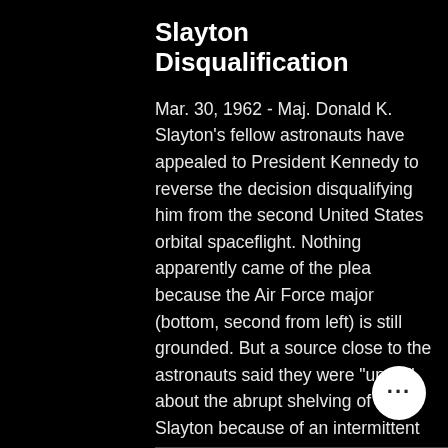Slayton Disqualification
Mar. 30, 1962 - Maj. Donald K. Slayton's fellow astronauts have appealed to President Kennedy to reverse the decision disqualifying him from the second United States orbital spaceflight. Nothing apparently came of the plea because the Air Force major (bottom, second from left) is still grounded. But a source close to the astronauts said they were "upset" about the abrupt shelving of Major Slayton because of an intermittent heart flutter. The sequel to Lieut. Col. John H. Glen